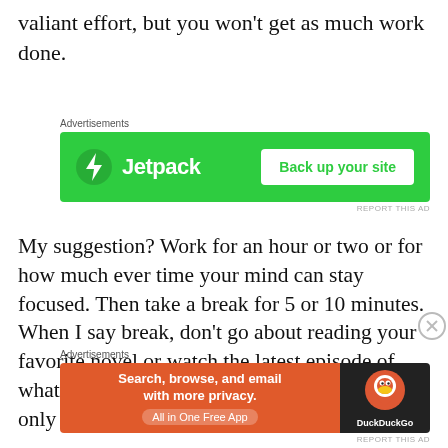valiant effort, but you won't get as much work done.
[Figure (screenshot): Jetpack advertisement banner with green background: Jetpack logo on left, 'Back up your site' button on right]
My suggestion? Work for an hour or two or for how much ever time your mind can stay focused. Then take a break for 5 or 10 minutes. When I say break, don't go about reading your favorite novel or watch the latest episode of whatever is the hotness right now. That would only screw your mind
[Figure (screenshot): DuckDuckGo advertisement banner: orange left panel 'Search, browse, and email with more privacy. All in One Free App', dark right panel with DuckDuckGo logo]